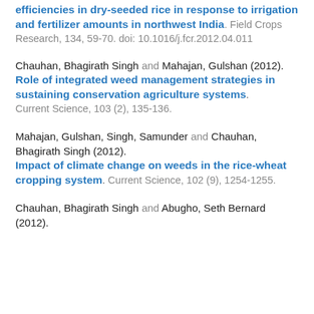efficiencies in dry-seeded rice in response to irrigation and fertilizer amounts in northwest India. Field Crops Research, 134, 59-70. doi: 10.1016/j.fcr.2012.04.011
Chauhan, Bhagirath Singh and Mahajan, Gulshan (2012). Role of integrated weed management strategies in sustaining conservation agriculture systems. Current Science, 103 (2), 135-136.
Mahajan, Gulshan, Singh, Samunder and Chauhan, Bhagirath Singh (2012). Impact of climate change on weeds in the rice-wheat cropping system. Current Science, 102 (9), 1254-1255.
Chauhan, Bhagirath Singh and Abugho, Seth Bernard (2012).